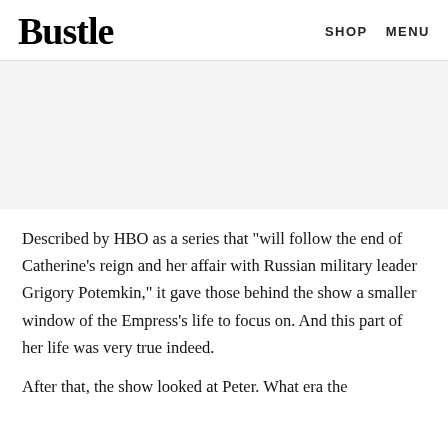Bustle  SHOP  MENU
[Figure (other): Gray advertisement/image placeholder band]
Described by HBO as a series that "will follow the end of Catherine's reign and her affair with Russian military leader Grigory Potemkin," it gave those behind the show a smaller window of the Empress's life to focus on. And this part of her life was very true indeed.
After that, the show looked at Peter. What era the...